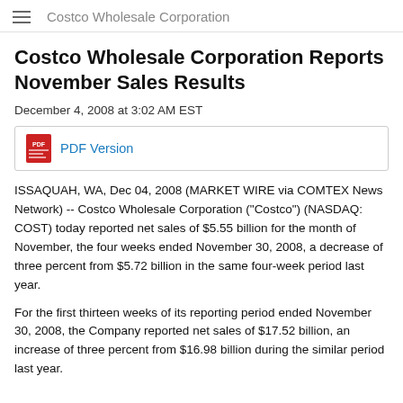Costco Wholesale Corporation
Costco Wholesale Corporation Reports November Sales Results
December 4, 2008 at 3:02 AM EST
[Figure (other): PDF Version link with PDF icon]
ISSAQUAH, WA, Dec 04, 2008 (MARKET WIRE via COMTEX News Network) -- Costco Wholesale Corporation ("Costco") (NASDAQ: COST) today reported net sales of $5.55 billion for the month of November, the four weeks ended November 30, 2008, a decrease of three percent from $5.72 billion in the same four-week period last year.
For the first thirteen weeks of its reporting period ended November 30, 2008, the Company reported net sales of $17.52 billion, an increase of three percent from $16.98 billion during the similar period last year.